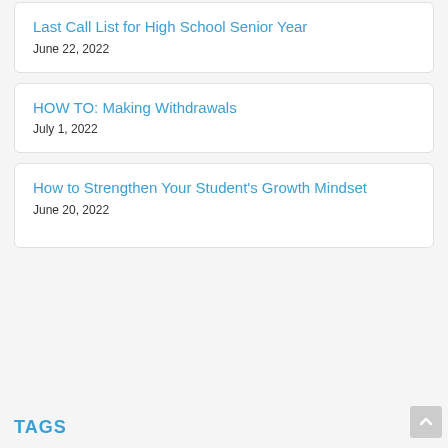Last Call List for High School Senior Year
June 22, 2022
HOW TO: Making Withdrawals
July 1, 2022
How to Strengthen Your Student's Growth Mindset
June 20, 2022
TAGS